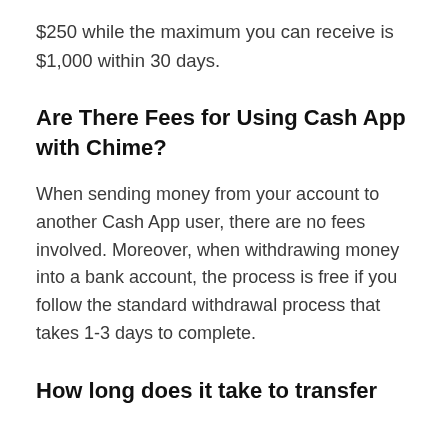$250 while the maximum you can receive is $1,000 within 30 days.
Are There Fees for Using Cash App with Chime?
When sending money from your account to another Cash App user, there are no fees involved. Moreover, when withdrawing money into a bank account, the process is free if you follow the standard withdrawal process that takes 1-3 days to complete.
How long does it take to transfer